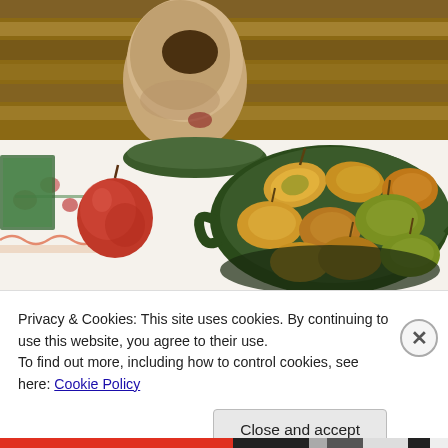[Figure (photo): A photograph showing a ceramic/clay pot or vase on a plate on a white embroidered tablecloth, next to a dark green ceramic bowl filled with various fruits (mangoes, pears, and an apple). Wooden slat background visible.]
Privacy & Cookies: This site uses cookies. By continuing to use this website, you agree to their use.
To find out more, including how to control cookies, see here: Cookie Policy